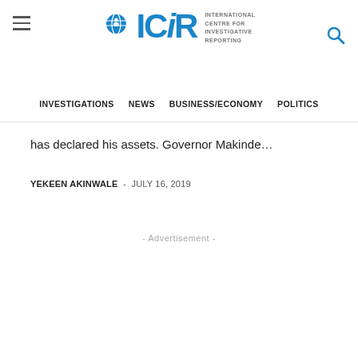ICiR - International Centre for Investigative Reporting
INVESTIGATIONS   NEWS   BUSINESS/ECONOMY   POLITICS
has declared his assets. Governor Makinde…
YEKEEN AKINWALE  -  JULY 16, 2019
- Advertisement -